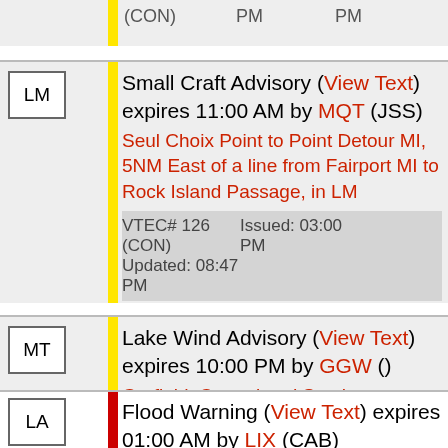(CON)    PM    PM
| LM | Small Craft Advisory (View Text) expires 11:00 AM by MQT (JSS) | Seul Choix Point to Point Detour MI, 5NM East of a line from Fairport MI to Rock Island Passage, in LM | VTEC# 126 (CON) | Issued: 03:00 PM | Updated: 08:47 PM |
| MT | Lake Wind Advisory (View Text) expires 10:00 PM by GGW () | Garfield, Central and Southeast Phillips, Central and Southern Valley, Petroleum, McCone, in MT | VTEC# 38 (CON) | Issued: 01:00 PM | Updated: 02:55 PM |
| LA | Flood Warning (View Text) expires 01:00 AM by LIX (CAB) |